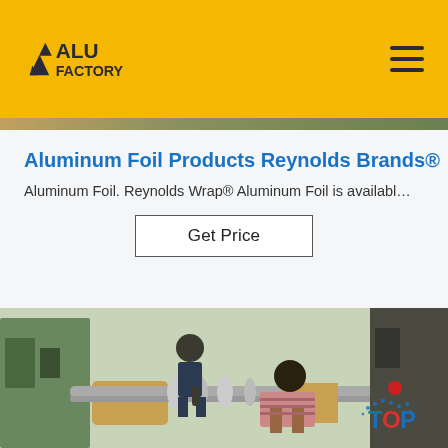ALU FACTORY
Aluminum Foil Products Reynolds Brands®
Aluminum Foil. Reynolds Wrap® Aluminum Foil is availabl…
Get Price
[Figure (photo): Factory worker operating industrial aluminum foil rolling machinery. Two workers visible, green industrial machines with large metal rollers.]